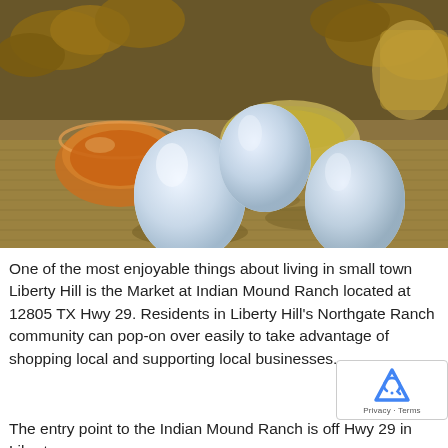[Figure (photo): Close-up photo of three white eggs on a burlap surface with a small glass bowl of honey/amber liquid on the left, a glass bowl of olive oil in the center-back, and ginger roots/walnuts in the background.]
One of the most enjoyable things about living in small town Liberty Hill is the Market at Indian Mound Ranch located at 12805 TX Hwy 29. Residents in Liberty Hill's Northgate Ranch community can pop-on over easily to take advantage of shopping local and supporting local businesses.
The entry point to the Indian Mound Ranch is off Hwy 29 in Liberty...